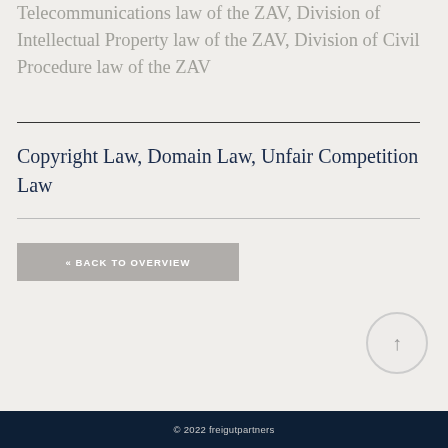Telecommunications law of the ZAV, Division of Intellectual Property law of the ZAV, Division of Civil Procedure law of the ZAV
Copyright Law, Domain Law, Unfair Competition Law
« BACK TO OVERVIEW
© 2022 freigutpartners